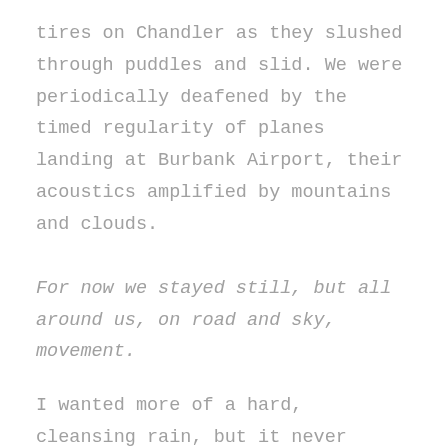tires on Chandler as they slushed through puddles and slid. We were periodically deafened by the timed regularity of planes landing at Burbank Airport, their acoustics amplified by mountains and clouds.
For now we stayed still, but all around us, on road and sky, movement.
I wanted more of a hard, cleansing rain, but it never came. And that begrudging, stingy deity who